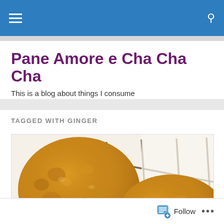Navigation bar with menu and search icons
Pane Amore e Cha Cha Cha
This is a blog about things I consume
TAGGED WITH GINGER
[Figure (photo): Close-up photo of golden-brown ginger cookies/biscuits resting on a wire cooling rack, with a white background. Two large round cookies are visible, showing a rough, craggy texture.]
Follow ...